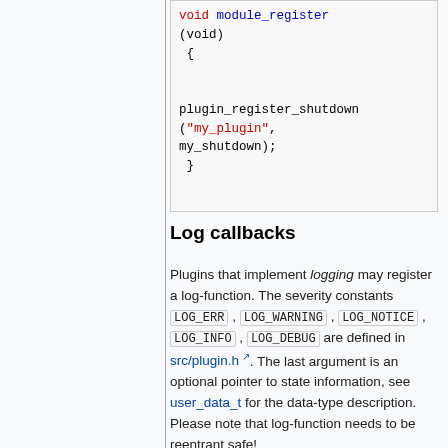[Figure (screenshot): Code block showing C function module_register(void) containing plugin_register_shutdown("my_plugin", my_shutdown);]
Log callbacks
Plugins that implement logging may register a log-function. The severity constants LOG_ERR, LOG_WARNING, LOG_NOTICE, LOG_INFO, LOG_DEBUG are defined in src/plugin.h. The last argument is an optional pointer to state information, see user_data_t for the data-type description. Please note that log-function needs to be reentrant safe!